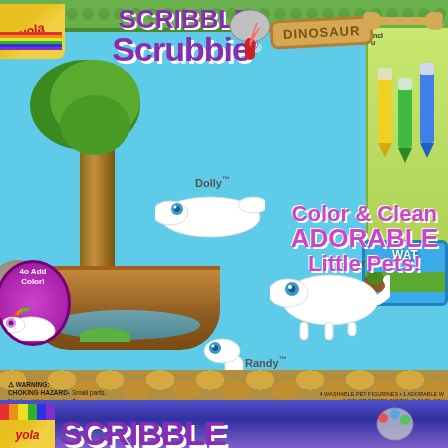[Figure (photo): Crayola Scribble Scrubbie Dinosaur toy product packaging showing four white dinosaur figures named Dolly, Walker, Randy, and Sid, with a tree and water trough play set, on a light blue background with green borders]
SCRIBBLE Scrubbie®
DINOSAUR
Dolly™
Walker™
Randy™
Sid™
Color & Clean ADORABLE Little Pets!
WAT
4o Add Color!
⚠ WARNING: CHOKING HAZARD- Small parts. Not for children under 3 yrs.
4 WASHABLE PET FIGURINES • 1 ADORABLE W 3 COLOR DROPS 3X10ML (0.34 FL.OZ.)
[Figure (photo): Bottom strip showing Crayola Scribble brand name with purple/blue gradient background and scrubbie brush icon, partial second product packaging]